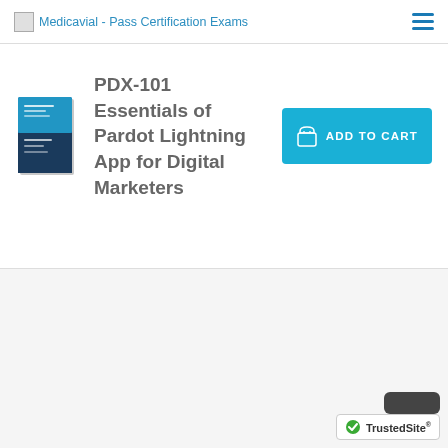Medicavial - Pass Certification Exams
[Figure (illustration): Book cover for PDX-101 Essentials of Pardot Lightning App for Digital Marketers]
PDX-101 Essentials of Pardot Lightning App for Digital Marketers
[Figure (other): ADD TO CART button in blue]
[Figure (logo): TrustedSite certification badge with checkmark]